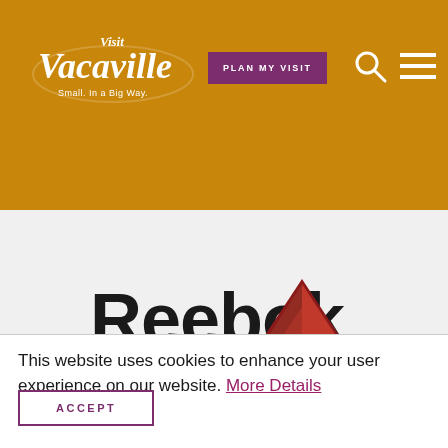Visit Vacaville — Small. In a Big Way. | PLAN MY VISIT
[Figure (logo): Visit Vacaville logo — white script text reading 'Visit Vacaville' with tagline 'Small. In a Big Way.']
[Figure (logo): Reebok logo — bold black wordmark 'Reebok' with red delta/triangle symbol to the right]
This website uses cookies to enhance your user experience on our website. More Details
ACCEPT